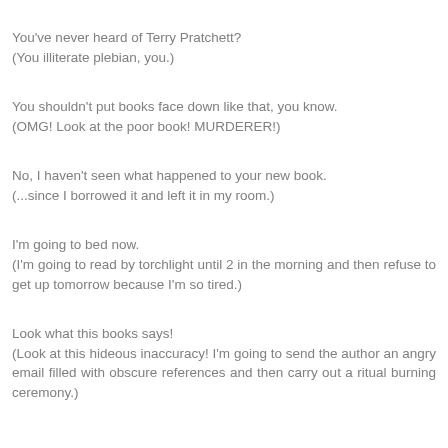You've never heard of Terry Pratchett?
(You illiterate plebian, you.)
You shouldn't put books face down like that, you know.
(OMG! Look at the poor book! MURDERER!)
No, I haven't seen what happened to your new book.
(...since I borrowed it and left it in my room.)
I'm going to bed now.
(I'm going to read by torchlight until 2 in the morning and then refuse to get up tomorrow because I'm so tired.)
Look what this books says!
(Look at this hideous inaccuracy! I'm going to send the author an angry email filled with obscure references and then carry out a ritual burning ceremony.)